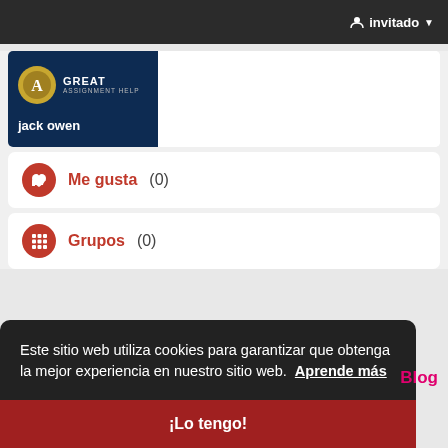invitado
[Figure (logo): Great Assignment Help logo with gold circle icon and white text on dark blue background, with user name 'jack owen' below]
Me gusta (0)
Grupos (0)
Este sitio web utiliza cookies para garantizar que obtenga la mejor experiencia en nuestro sitio web.  Aprende más
Blog
¡Lo tengo!